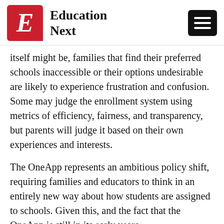Education Next
itself might be, families that find their preferred schools inaccessible or their options undesirable are likely to experience frustration and confusion. Some may judge the enrollment system using metrics of efficiency, fairness, and transparency, but parents will judge it based on their own experiences and interests.
The OneApp represents an ambitious policy shift, requiring families and educators to think in an entirely new way about how students are assigned to schools. Given this, and the fact that the OneApp is still in its early years, misunderstandings are not surprising. With most families getting one of their top-ranked schools, the number of satisfied parents could give system and school leaders time to improve the application process further as well as the quality of schools offered. There